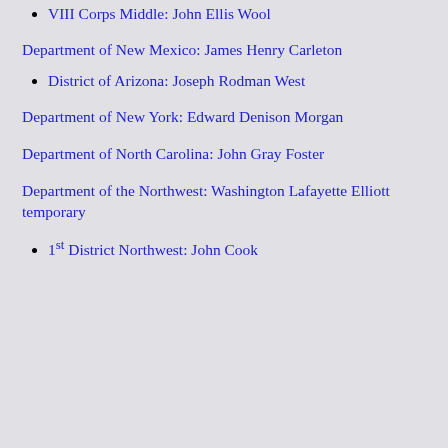VIII Corps Middle: John Ellis Wool
Department of New Mexico: James Henry Carleton
District of Arizona: Joseph Rodman West
Department of New York: Edward Denison Morgan
Department of North Carolina: John Gray Foster
Department of the Northwest: Washington Lafayette Elliott temporary
1st District Northwest: John Cook